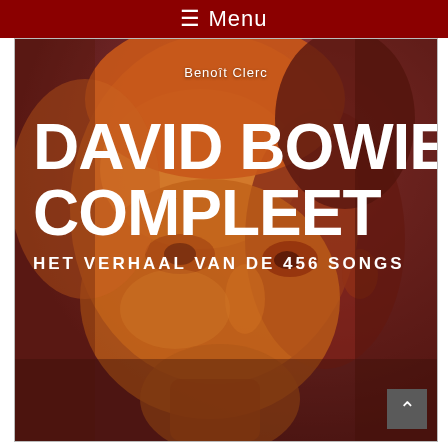≡ Menu
[Figure (photo): Book cover of 'David Bowie Compleet' by Benoît Clerc. Features a close-up duotone portrait photo of David Bowie with warm yellow-orange and red tones. Large bold white text displays the title 'DAVID BOWIE COMPLEET' and subtitle 'HET VERHAAL VAN DE 456 SONGS'. Author name 'Benoît Clerc' appears at the top.]
DAVID BOWIE COMPLEET
HET VERHAAL VAN DE 456 SONGS
Benoît Clerc